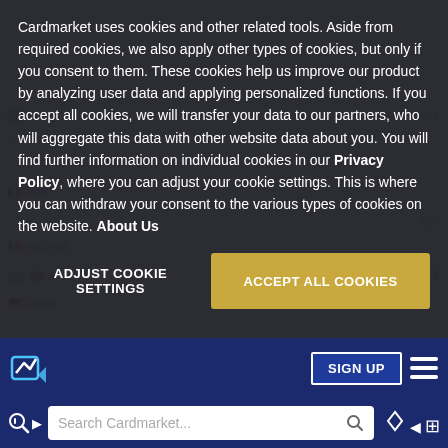[Figure (screenshot): Cookie consent overlay dialog on Cardmarket website, with dark semi-transparent background showing text about cookies and two buttons: 'ADJUST COOKIE SETTINGS' and 'ACCEPT ALL COOKIES']
Cardmarket uses cookies and other related tools. Aside from required cookies, we also apply other types of cookies, but only if you consent to them. These cookies help us improve our product by analyzing user data and applying personalized functions. If you accept all cookies, we will transfer your data to our partners, who will aggregate this data with other website data about you. You will find further information on individual cookies in our Privacy Policy, where you can adjust your cookie settings. This is where you can withdraw your consent to the various types of cookies on the website. About Us
ADJUST COOKIE SETTINGS
ACCEPT ALL COOKIES
SIGN UP
Search Cardmarket...
AntoMat59
1 avail.   4,00 €
arenaportostore